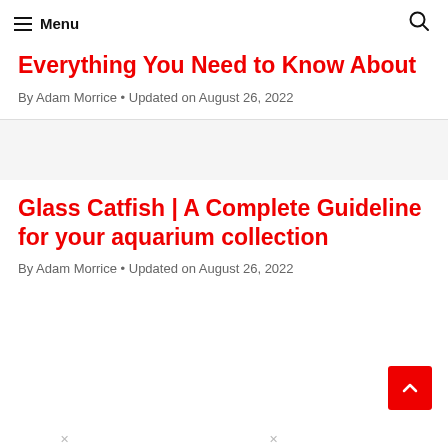Menu
Everything You Need to Know About
By Adam Morrice • Updated on August 26, 2022
Glass Catfish | A Complete Guideline for your aquarium collection
By Adam Morrice • Updated on August 26, 2022